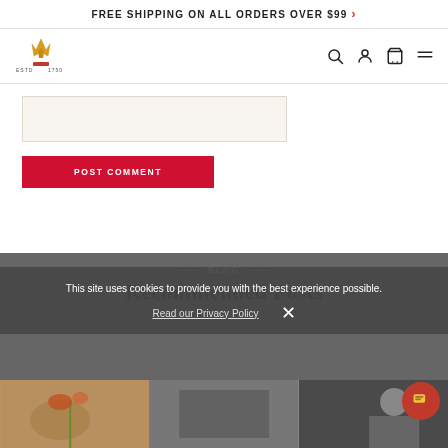FREE SHIPPING ON ALL ORDERS OVER $99 >
[Figure (logo): Brand logo: crown/wheat icon with ESTD 1750 text]
[Figure (infographic): Navigation bar icons: search, user account, cart, menu]
[Figure (other): Comment text area input box (light beige background)]
POST COMMENT
— BLOG —
Recommended Posts
This site uses cookies to provide you with the best experience possible.
Read our Privacy Policy
[Figure (photo): Three blog post thumbnail images at the bottom of the page]